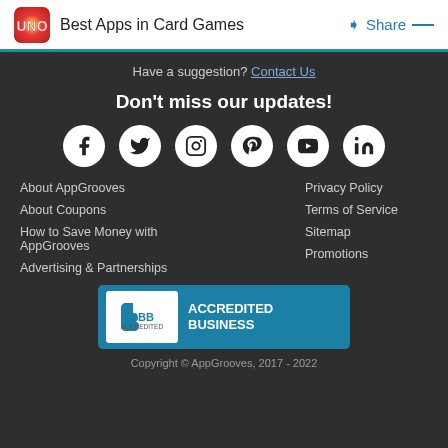Best Apps in Card Games  Share
Have a suggestion? Contact Us
Don't miss our updates!
[Figure (infographic): Row of 6 social media icons (Facebook, Twitter, Instagram, Pinterest, YouTube, LinkedIn) as white circles on dark background]
About AppGrooves
About Coupons
How to Save Money with AppGrooves
Advertising & Partnerships
Privacy Policy
Terms of Service
Sitemap
Promotions
[Figure (logo): BBB Accredited Business badge - blue rectangle with BBB logo and text ACCREDITED BUSINESS]
Copyright © AppGrooves, 2017 - 2022